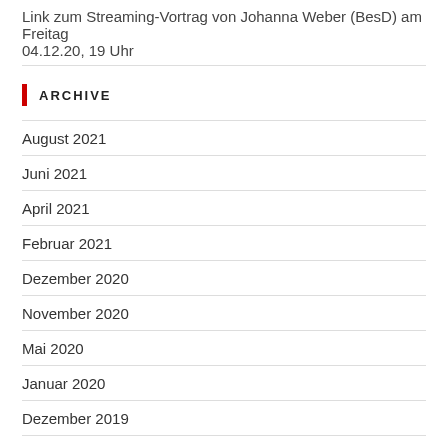Link zum Streaming-Vortrag von Johanna Weber (BesD) am Freitag 04.12.20, 19 Uhr
ARCHIVE
August 2021
Juni 2021
April 2021
Februar 2021
Dezember 2020
November 2020
Mai 2020
Januar 2020
Dezember 2019